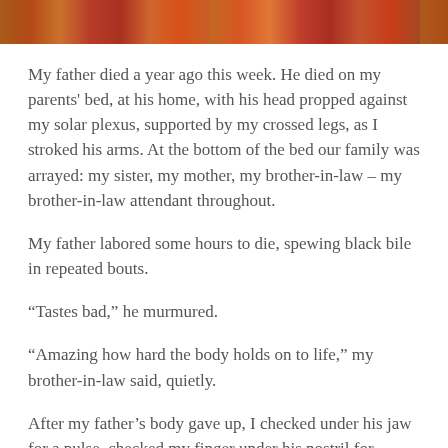[Figure (photo): Partial photo strip at the top of the page showing colorful blurred image fragments in red, orange, and brown tones.]
My father died a year ago this week. He died on my parents' bed, at his home, with his head propped against my solar plexus, supported by my crossed legs, as I stroked his arms. At the bottom of the bed our family was arrayed: my sister, my mother, my brother-in-law – my brother-in-law attendant throughout.
My father labored some hours to die, spewing black bile in repeated bouts.
“Tastes bad,” he murmured.
“Amazing how hard the body holds on to life,” my brother-in-law said, quietly.
After my father’s body gave up, I checked under his jaw for a pulse, checked my finger under his nostril for breath. I